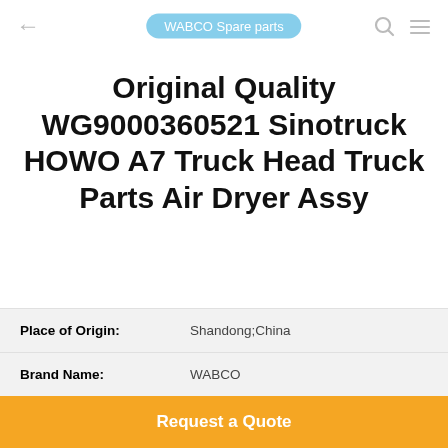WABCO Spare parts
Original Quality WG9000360521 Sinotruck HOWO A7 Truck Head Truck Parts Air Dryer Assy
| Attribute | Value |
| --- | --- |
| Place of Origin: | Shandong;China |
| Brand Name: | WABCO |
| Model Number: | WG9000360521 |